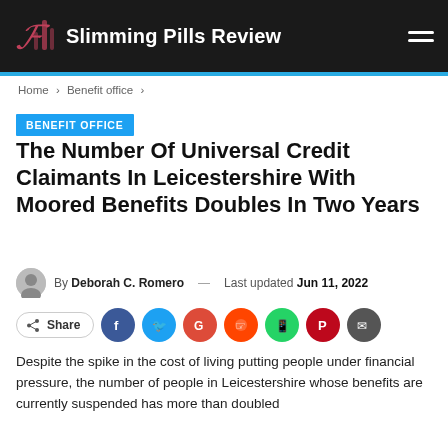Slimming Pills Review
Home > Benefit office >
BENEFIT OFFICE
The Number Of Universal Credit Claimants In Leicestershire With Moored Benefits Doubles In Two Years
By Deborah C. Romero — Last updated Jun 11, 2022
Share
Despite the spike in the cost of living putting people under financial pressure, the number of people in Leicestershire whose benefits are currently suspended has more than doubled